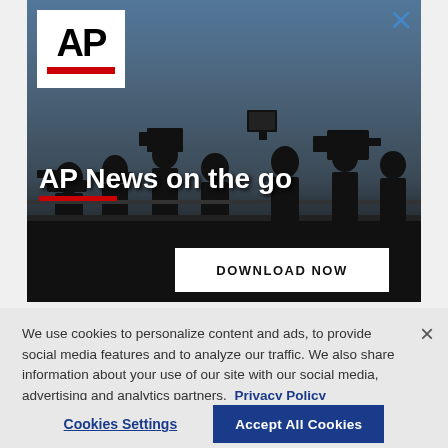[Figure (illustration): AP News advertisement banner showing silhouettes of journalists with cameras against a blue sky background. Features AP logo (white box with black AP text and red bar), close X button, headline 'AP News on the go' with red underline, and 'DOWNLOAD NOW' button.]
We use cookies to personalize content and ads, to provide social media features and to analyze our traffic. We also share information about your use of our site with our social media, advertising and analytics partners. Privacy Policy
Cookies Settings
Accept All Cookies